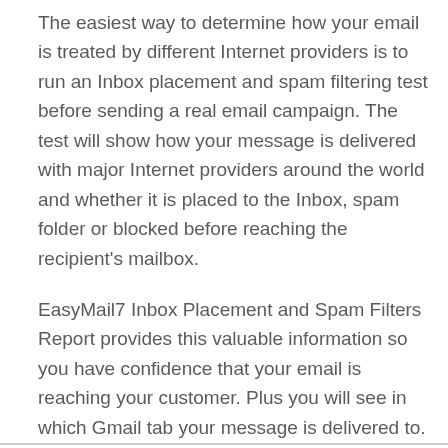The easiest way to determine how your email is treated by different Internet providers is to run an Inbox placement and spam filtering test before sending a real email campaign. The test will show how your message is delivered with major Internet providers around the world and whether it is placed to the Inbox, spam folder or blocked before reaching the recipient's mailbox.
EasyMail7 Inbox Placement and Spam Filters Report provides this valuable information so you have confidence that your email is reaching your customer. Plus you will see in which Gmail tab your message is delivered to.